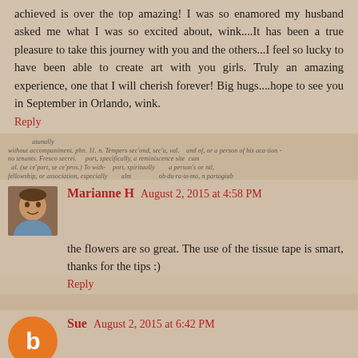achieved is over the top amazing! I was so enamored my husband asked me what I was so excited about, wink....It has been a true pleasure to take this journey with you and the others...I feel so lucky to have been able to create art with you girls. Truly an amazing experience, one that I will cherish forever! Big hugs....hope to see you in September in Orlando, wink.
Reply
Marianne H  August 2, 2015 at 4:58 PM
the flowers are so great. The use of the tissue tape is smart, thanks for the tips :)
Reply
Sue  August 2, 2015 at 6:42 PM
These cards are gorgeous! They have so much depth and wonderfully adorned. Beautiful flowers and work!
Reply